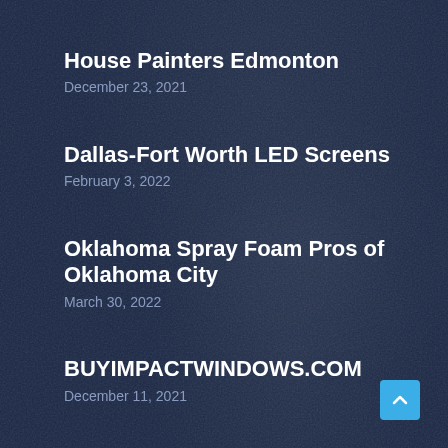House Painters Edmonton
December 23, 2021
Dallas-Fort Worth LED Screens
February 3, 2022
Oklahoma Spray Foam Pros of Oklahoma City
March 30, 2022
BUYIMPACTWINDOWS.COM
December 11, 2021
LaGrassa Masonry
May 10, 2022